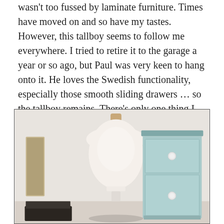wasn't too fussed by laminate furniture. Times have moved on and so have my tastes. However, this tallboy seems to follow me everywhere. I tried to retire it to the garage a year or so ago, but Paul was very keen to hang onto it. He loves the Swedish functionality, especially those smooth sliding drawers … so the tallboy remains. There's only one thing I can do … it's time for an Ikea Hack of my bedroom tallboy!
[Figure (photo): Photo of a white dress form/mannequin torso next to a light blue painted IKEA tallboy dresser with white knob handles, set against a light wall with flowers visible at the bottom left.]